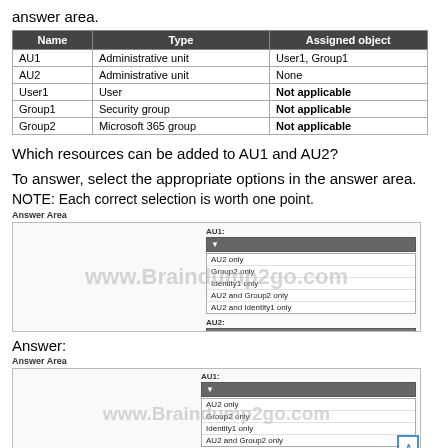answer area.
| Name | Type | Assigned object |
| --- | --- | --- |
| AU1 | Administrative unit | User1, Group1 |
| AU2 | Administrative unit | None |
| User1 | User | Not applicable |
| Group1 | Security group | Not applicable |
| Group2 | Microsoft 365 group | Not applicable |
Which resources can be added to AU1 and AU2?
To answer, select the appropriate options in the answer area.
NOTE: Each correct selection is worth one point.
[Figure (screenshot): Answer Area with two dropdowns: AU1 showing options (AU2 only, Group2 only, Identity1 only, AU2 and Group2 only, ...) and AU2 showing options (Identity1 only, AU1 and Identity1 only, Group1 and Group2 only, AU1, Group2 and Identity1 only, Group1, Group2 and User1 only). Watermark: www.Braindump2go.com]
Answer:
[Figure (screenshot): Answer Area (answer version) with two dropdowns AU1 and AU2, same options visible. Watermark: www.Braindump2go.com]